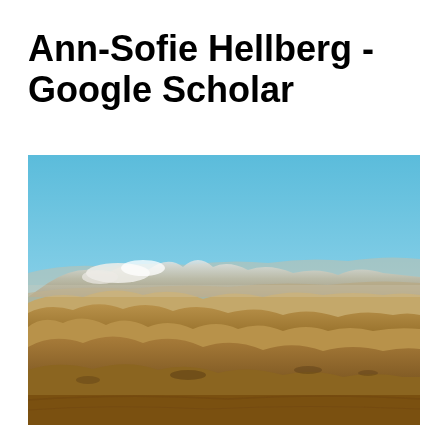Ann-Sofie Hellberg - Google Scholar
[Figure (photo): Landscape panorama photograph showing rolling golden-brown hills in the foreground, a wide valley with urban development in the middle distance, snow-capped mountains along the horizon, and a clear blue sky above.]